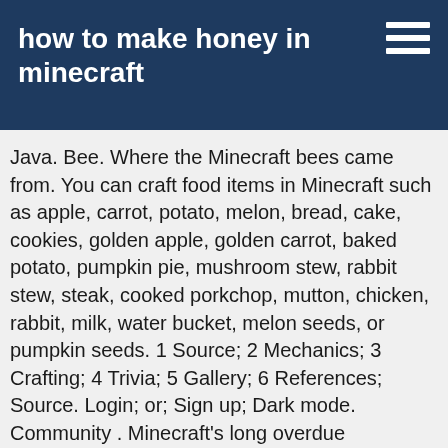how to make honey in minecraft
Java. Bee. Where the Minecraft bees came from. You can craft food items in Minecraft such as apple, carrot, potato, melon, bread, cake, cookies, golden apple, golden carrot, baked potato, pumpkin pie, mushroom stew, rabbit stew, steak, cooked porkchop, mutton, chicken, rabbit, milk, water bucket, melon seeds, or pumpkin seeds. 1 Source; 2 Mechanics; 3 Crafting; 4 Trivia; 5 Gallery; 6 References; Source. Login; or; Sign up; Dark mode. Community . Minecraft's long overdue recognition of bees just became a bit more significant to the practical minded player. [3/4] - Oh look, here comes our first sucker. Honey may refer to: Items . A honey bottle is a food item obtainable from using a glass bottle on a beehive or can be crafted with one honey block and